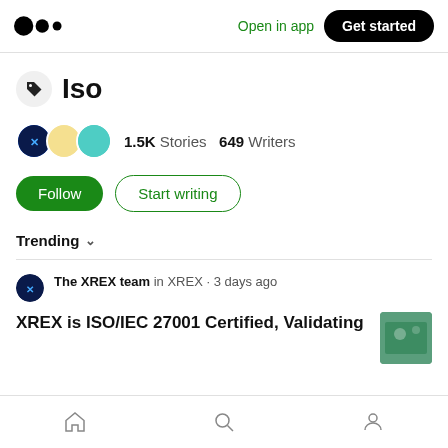Medium logo | Open in app | Get started
Iso
1.5K Stories  649 Writers
Follow  Start writing
Trending
The XREX team in XREX · 3 days ago
XREX is ISO/IEC 27001 Certified, Validating
Home | Search | Profile